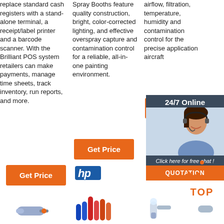replace standard cash registers with a stand-alone terminal, a receipt/label printer and a barcode scanner. With the Brilliant POS system retailers can make payments, manage time sheets, track inventory, run reports, and more.
Spray Booths feature quality construction, bright, color-corrected lighting, and effective overspray capture and contamination control for a reliable, all-in-one painting environment.
airflow, filtration, temperature, humidity and contamination control for the precise application aircraft
[Figure (photo): Customer service representative with headset, chat overlay with 24/7 Online label, Click here for free chat text, and QUOTATION button]
Get Price
Get Price
Get
[Figure (logo): TOP button with orange dot pattern above orange TOP text]
[Figure (photo): HP logo and product images at bottom of page]